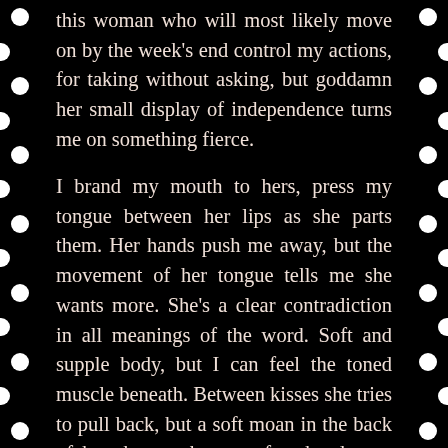this woman who will most likely move on by the week's end control my actions, for taking without asking, but goddamn her small display of independence turns me on something fierce.
I brand my mouth to hers, press my tongue between her lips as she parts them. Her hands push me away, but the movement of her tongue tells me she wants more. She's a clear contradiction in all meanings of the word. Soft and supple body, but I can feel the toned muscle beneath. Between kisses she tries to pull back, but a soft moan in the back of her throat when my free hand cups her ass tells me how much she wants this.
Her hands fist in my shirt at the same time